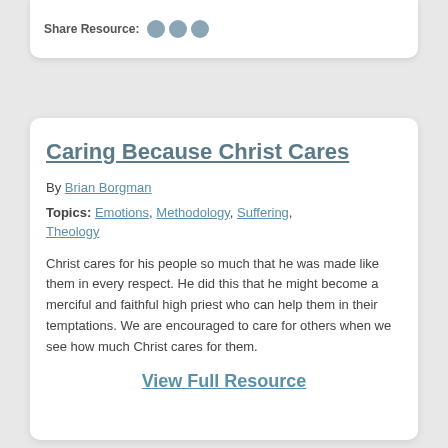Share Resource:
Caring Because Christ Cares
By Brian Borgman
Topics: Emotions, Methodology, Suffering, Theology
Christ cares for his people so much that he was made like them in every respect. He did this that he might become a merciful and faithful high priest who can help them in their temptations. We are encouraged to care for others when we see how much Christ cares for them.
View Full Resource